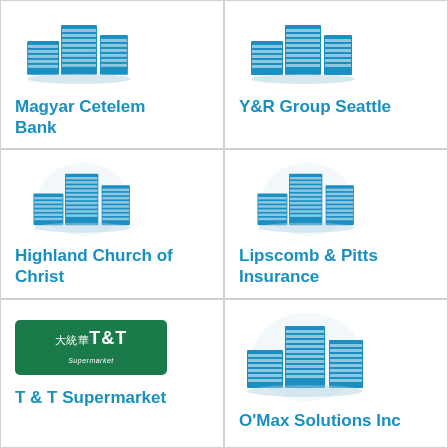[Figure (logo): Building illustration for Magyar Cetelem Bank]
Magyar Cetelem Bank
[Figure (logo): Building illustration for Y&R Group Seattle]
Y&R Group Seattle
[Figure (logo): Building illustration for Highland Church of Christ]
Highland Church of Christ
[Figure (logo): Building illustration for Lipscomb & Pitts Insurance]
Lipscomb & Pitts Insurance
[Figure (logo): T&T Supermarket logo - green rectangle with Chinese characters and T&T Supermarket text]
T & T Supermarket
[Figure (logo): Building illustration for O'Max Solutions Inc]
O'Max Solutions Inc